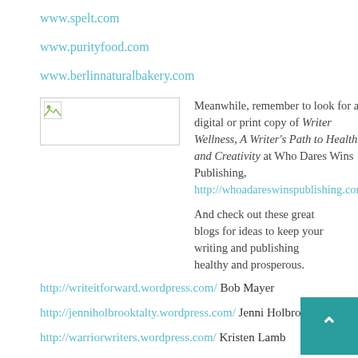www.spelt.com
www.purityfood.com
www.berlinnaturalbakery.com
[Figure (illustration): Broken/missing image placeholder with small icon in top-left corner]
Meanwhile, remember to look for a digital or print copy of Writer Wellness, A Writer's Path to Health and Creativity at Who Dares Wins Publishing, http://whoadareswinspublishing.com.
And check out these great blogs for ideas to keep your writing and publishing healthy and prosperous.
http://writeitforward.wordpress.com/ Bob Mayer
http://jenniholbrooktalty.wordpress.com/ Jenni Holbro
http://warriorwriters.wordpress.com/ Kristen Lamb